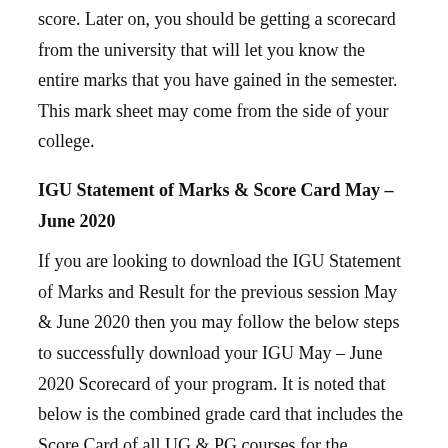score. Later on, you should be getting a scorecard from the university that will let you know the entire marks that you have gained in the semester. This mark sheet may come from the side of your college.
IGU Statement of Marks & Score Card May – June 2020
If you are looking to download the IGU Statement of Marks and Result for the previous session May & June 2020 then you may follow the below steps to successfully download your IGU May – June 2020 Scorecard of your program. It is noted that below is the combined grade card that includes the Score Card of all UG & PG courses for the semester examination May – June 2020.
IGU Marking System 2021
Whether it is the regular education at IGU, the university